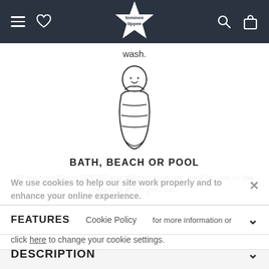tommee tippee — navigation bar with hamburger, heart, logo, search, bag icons
wash.
[Figure (illustration): Line drawing of a swaddled baby in a sleeping bag with a smiley face]
BATH, BEACH OR POOL
All our towelling is UPF 50 and chlorine resistant, ideal for use on the beach or at the pool too.
We use cookies to help our site work properly and to enhance your online experience.
Cookie Policy for more information or click here to change your cookie settings.
FEATURES
DESCRIPTION